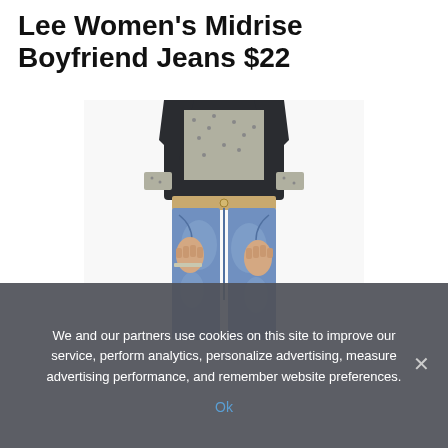Lee Women's Midrise Boyfriend Jeans $22
[Figure (photo): Woman wearing Lee Women's Midrise Boyfriend Jeans in blue denim, paired with a dark blazer and patterned shirt, hands in pockets, shown from waist down to knees.]
We and our partners use cookies on this site to improve our service, perform analytics, personalize advertising, measure advertising performance, and remember website preferences.
Ok